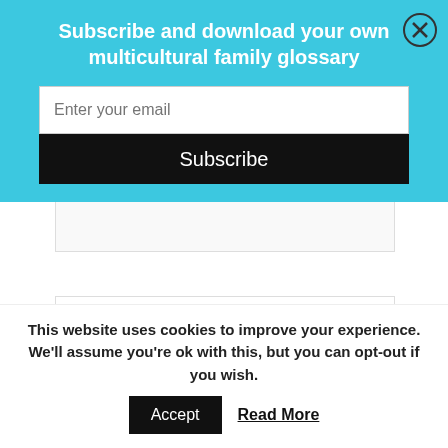Subscribe and download your own multicultural family glossary
Enter your email
Subscribe
Follow Us!
[Figure (other): Row of six social media icons: Facebook, Google+, Twitter, Pinterest, RSS, Instagram]
This website uses cookies to improve your experience. We'll assume you're ok with this, but you can opt-out if you wish.
Accept  Read More